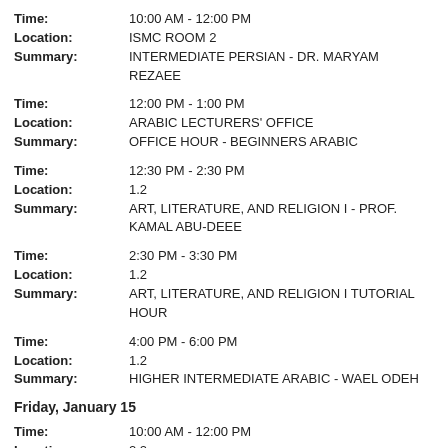Time: 10:00 AM - 12:00 PM | Location: ISMC ROOM 2 | Summary: INTERMEDIATE PERSIAN - DR. MARYAM REZAEE
Time: 12:00 PM - 1:00 PM | Location: ARABIC LECTURERS' OFFICE | Summary: OFFICE HOUR - BEGINNERS ARABIC
Time: 12:30 PM - 2:30 PM | Location: 1.2 | Summary: ART, LITERATURE, AND RELIGION I - PROF. KAMAL ABU-DEEE
Time: 2:30 PM - 3:30 PM | Location: 1.2 | Summary: ART, LITERATURE, AND RELIGION I TUTORIAL HOUR
Time: 4:00 PM - 6:00 PM | Location: 1.2 | Summary: HIGHER INTERMEDIATE ARABIC - WAEL ODEH
Friday, January 15
Time: 10:00 AM - 12:00 PM | Location: 2.2 | Summary: BEGINNERS PERSIAN - MRS. SHABNAM MIRAFZALI
Time: 11:30 AM - 1:30 PM | Location: 1.2 | Summary: HIGHER INTERMEDIATE ARABIC - WAEL ODEH
Time: 1:00 PM - 3:00 PM | Location: 1.1